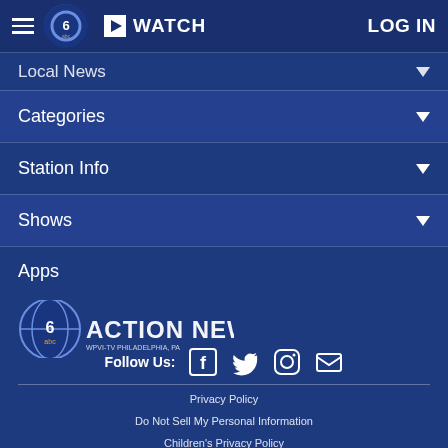▶ WATCH   LOG IN
Local News ▾
Categories ▾
Station Info ▾
Shows ▾
Apps
[Figure (logo): 6abc Action News logo — WPVI-TV Philadelphia, PA]
Follow Us:
Privacy Policy
Do Not Sell My Personal Information
Children's Privacy Policy
Your California Privacy Rights   Terms of Use
Interest Based Ads   Public Inspection File